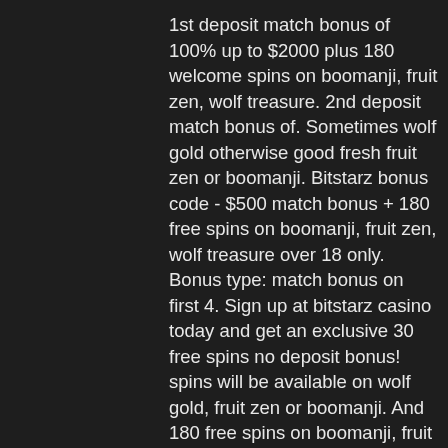1st deposit match bonus of 100% up to $2000 plus 180 welcome spins on boomanji, fruit zen, wolf treasure. 2nd deposit match bonus of. Sometimes wolf gold otherwise good fresh fruit zen or boomanji. Bitstarz bonus code - $500 match bonus + 180 free spins on boomanji, fruit zen, wolf treasure over 18 only. Bonus type: match bonus on first 4. Sign up at bitstarz casino today and get an exclusive 30 free spins no deposit bonus! spins will be available on wolf gold, fruit zen or boomanji. And 180 free spins on boomanji, fruit zen,wolf treasure. ; deposit #2 - 50%. Bitstarz bonus code - $500 match bonus + 180 free spins on boomanji, fruit zen, wolf treasure over 18 only. Bonus type: match bonus on first 4. Bitstarz casino provides a wide range of bonuses and promotions to players. You can get 20 free spins no deposit on fruit zen or boomanji (. + 180 free spins on boomanji, fruit zen, wolf